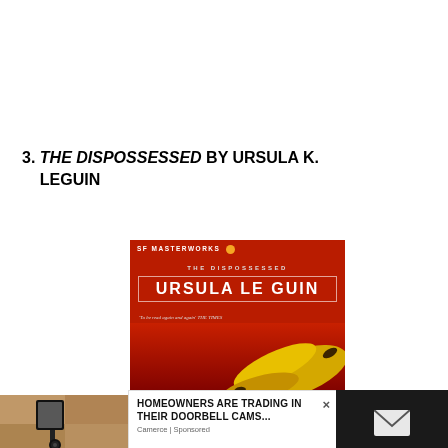3. THE DISPOSSESSED BY URSULA K. LEGUIN
[Figure (photo): Book cover of 'The Dispossessed' by Ursula Le Guin, SF Masterworks edition. Red background with yellow/orange sculptural banana-like forms. Text: SF MASTERWORKS, THE DISPOSSESSED, URSULA LE GUIN, 'To be read again and again' THE TIMES.]
[Figure (photo): Partial photo of an outdoor wall lamp/lantern mounted on a stone wall, bottom-left corner.]
HOMEOWNERS ARE TRADING IN THEIR DOORBELL CAMS...
Camerce | Sponsored